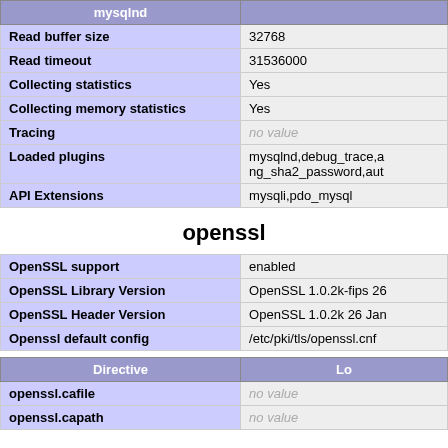| mysqlnd |  |
| --- | --- |
| Read buffer size | 32768 |
| Read timeout | 31536000 |
| Collecting statistics | Yes |
| Collecting memory statistics | Yes |
| Tracing | no value |
| Loaded plugins | mysqlnd,debug_trace,a ng_sha2_password,aut |
| API Extensions | mysqli,pdo_mysql |
openssl
| OpenSSL support | enabled |
| OpenSSL Library Version | OpenSSL 1.0.2k-fips 26 |
| OpenSSL Header Version | OpenSSL 1.0.2k 26 Jan |
| Openssl default config | /etc/pki/tls/openssl.cnf |
| Directive | Lo |
| --- | --- |
| openssl.cafile | no value |
| openssl.capath | no value |